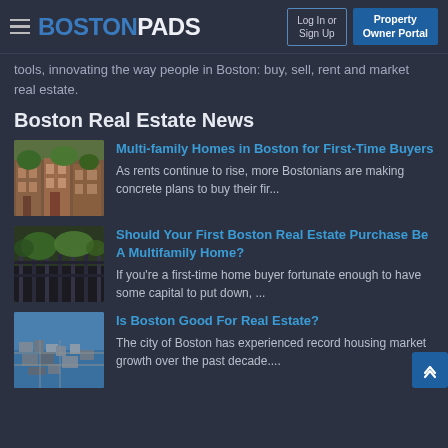BOSTONPADS — Log In or Sign Up | Property Owner Portal
tools, innovating the way people in Boston: buy, sell, rent and market real estate.
Boston Real Estate News
[Figure (photo): Brick brownstone row houses on a tree-lined Boston street]
Multi-family Homes in Boston for First-Time Buyers
As rents continue to rise, more Bostonians are making concrete plans to buy their fir...
[Figure (photo): Iron fence with green foliage, Boston neighborhood street scene]
Should Your First Boston Real Estate Purchase Be A Multifamily Home?
If you're a first-time home buyer fortunate enough to have some capital to put down, ...
[Figure (photo): Aerial view of Boston cityscape and harbor]
Is Boston Good For Real Estate?
The city of Boston has experienced record housing market growth over the past decade....